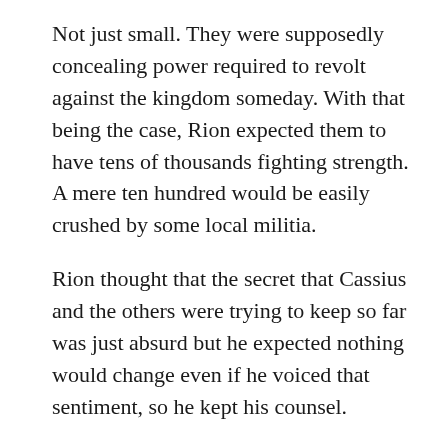Not just small. They were supposedly concealing power required to revolt against the kingdom someday. With that being the case, Rion expected them to have tens of thousands fighting strength. A mere ten hundred would be easily crushed by some local militia.
Rion thought that the secret that Cassius and the others were trying to keep so far was just absurd but he expected nothing would change even if he voiced that sentiment, so he kept his counsel.
「Does that number include soldiers patrolling the territory right now?」
「Yes.」
《…Then pick four hundred.》
「Four hundred, is it?」